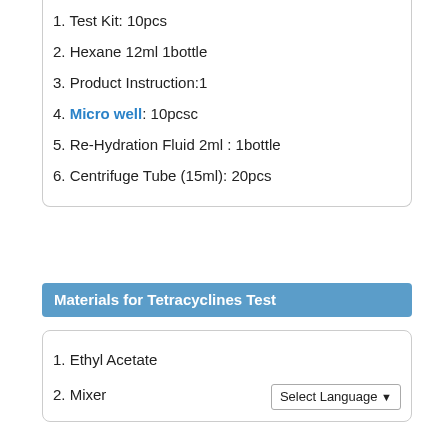1. Test Kit: 10pcs
2. Hexane2ml1bottle
3. Product Instruction:1
4. Micro well: 10pcsc
5. Re-Hydration Fluid2ml: 1bottle
6. Centrifuge Tube (15ml): 20pcs
Materials for Tetracyclines Test
1. Ethyl Acetate
2. Mixer